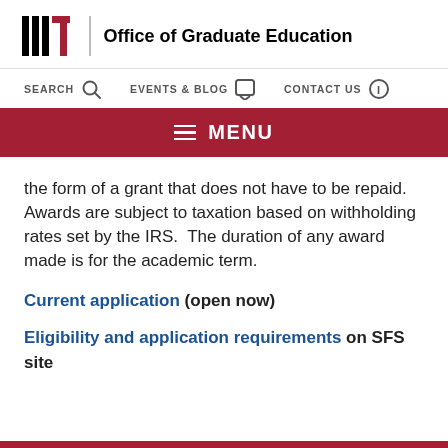MIT | Office of Graduate Education
SEARCH   EVENTS & BLOG   CONTACT US
≡ MENU
the form of a grant that does not have to be repaid. Awards are subject to taxation based on withholding rates set by the IRS. The duration of any award made is for the academic term.
Current application (open now)
Eligibility and application requirements on SFS site